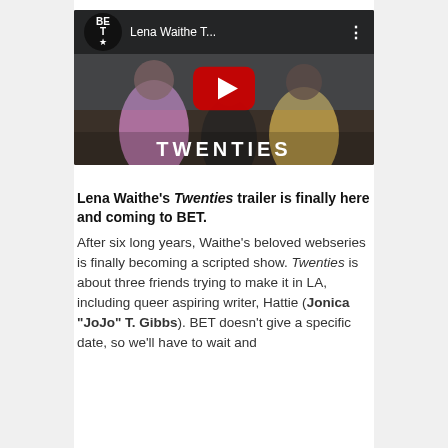[Figure (screenshot): YouTube video thumbnail for 'Lena Waithe T...' from BET channel, showing two women with the word TWENTIES at the bottom and a red play button in the center]
Lena Waithe's Twenties trailer is finally here and coming to BET.
After six long years, Waithe's beloved webseries is finally becoming a scripted show. Twenties is about three friends trying to make it in LA, including queer aspiring writer, Hattie (Jonica "JoJo" T. Gibbs). BET doesn't give a specific date, so we'll have to wait and